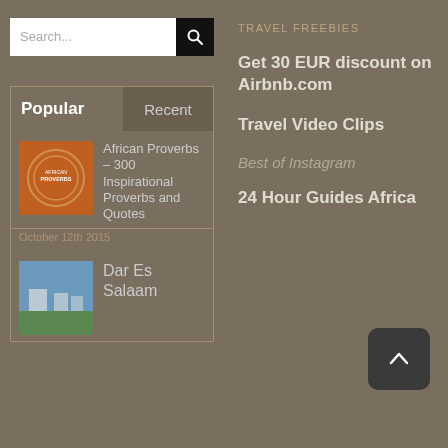Search...
Popular | Recent
[Figure (illustration): African Proverbs thumbnail - orange circular design with text]
African Proverbs – 300 Inspirational Proverbs and Quotes
October 12th 2015
[Figure (photo): Dar Es Salaam thumbnail - sky and buildings photo]
Dar Es Salaam
TRAVEL FREEBIES
Get 30 EUR discount on Airbnb.com
Travel Video Clips
Best of Instagram
24 Hour Guides Africa